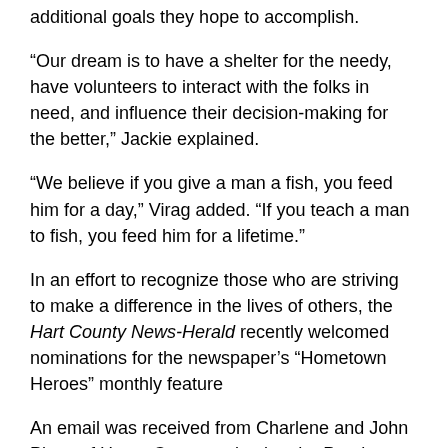additional goals they hope to accomplish.
“Our dream is to have a shelter for the needy, have volunteers to interact with the folks in need, and influence their decision-making for the better,” Jackie explained.
“We believe if you give a man a fish, you feed him for a day,” Virag added. “If you teach a man to fish, you feed him for a lifetime.”
In an effort to recognize those who are striving to make a difference in the lives of others, the Hart County News-Herald recently welcomed nominations for the newspaper’s “Hometown Heroes” monthly feature
An email was received from Charlene and John Planz of Horse Cave nominating the Pandeyas as January’s “Hometown Heroes”.
“We would like to nominate Dr. Virag Pandeya and his wife and nurse, Jackie Pandeya, as Hometown Heroes,” the email stated. “The Pandeyas recently opened Malti’s Closet near their medical practice. I’m sure you are aware this is a completely free clothing and food bank. They have funded all of it themselves and